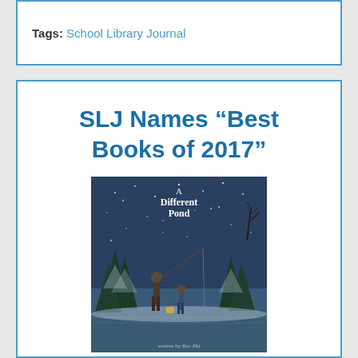Tags: School Library Journal
SLJ Names “Best Books of 2017”
[Figure (illustration): Book cover of 'A Different Pond' showing an adult and child fishing by a pond at night with snow falling and trees in the background]
School Library Journal Announces “Best Books of 2017.” School Library Journal...